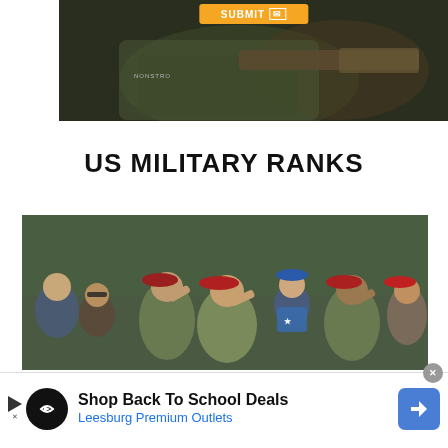[Figure (photo): Soldier in camouflage uniform looking through or handling a rifle/weapon, with orange SUBMIT button overlay at top. Name tape visible reading 'NONSTRO' or similar.]
US MILITARY RANKS
[Figure (photo): Group of soldiers wearing red berets saluting, surrounded by civilians at what appears to be a military ceremony or parade.]
[Figure (other): Advertisement banner: Shop Back To School Deals - Leesburg Premium Outlets, with navigation arrow icon and circular logo.]